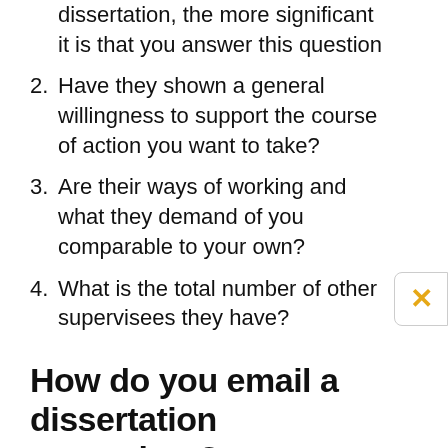dissertation, the more significant it is that you answer this question
2. Have they shown a general willingness to support the course of action you want to take?
3. Are their ways of working and what they demand of you comparable to your own?
4. What is the total number of other supervisees they have?
How do you email a dissertation supervisor?